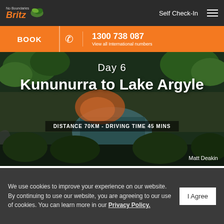Britz | Self Check-In | BOOK | 1300 738 087 | View all International numbers
[Figure (photo): Aerial drone photo of a winding river through lush green landscape with orange sunset glow — Kununurra to Lake Argyle route]
Day 6
Kununurra to Lake Argyle
DISTANCE 70KM - DRIVING TIME 45 MINS
Matt Deakin
Head to the expansive Lake Argyle and admire the amazing marine environment created by the Ord Rive Irrigation System,
We use cookies to improve your experience on our website. By continuing to use our website, you are agreeing to our use of cookies. You can learn more in our Privacy Policy.